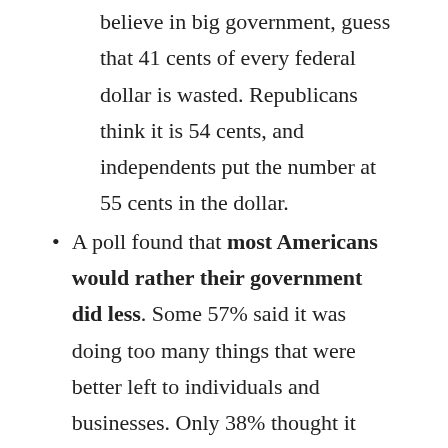believe in big government, guess that 41 cents of every federal dollar is wasted. Republicans think it is 54 cents, and independents put the number at 55 cents in the dollar.
A poll found that most Americans would rather their government did less. Some 57% said it was doing too many things that were better left to individuals and businesses. Only 38% thought it should do more.
And many people have genuine complaints. Many working-class men